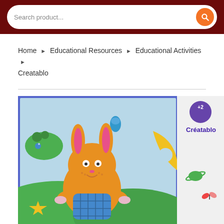Search product...
Home ▶ Educational Resources ▶ Educational Activities ▶ Creatablo
[Figure (photo): Product photo of Créatablo educational toy — a wooden puzzle/activity board showing a cartoon orange bunny with pink ears holding a blue-checkered item, a yellow crescent moon piece, green alien shapes, a yellow star, and small wooden pegs on a light blue background. The right side shows the Créatablo product box with '+2' age label and the brand name 'Créatablo', plus small images of additional pieces including a planet and a butterfly.]